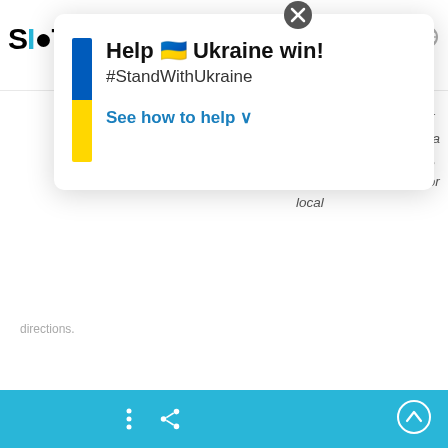[Figure (screenshot): Website header showing partial logo text 'S' and 'TOF' in black with blue accents, plus share, search, and globe icons on the right side of the navigation bar]
laszczuk again calls for a the state announces a three-ew South Wales, Western closely monitor local
[Figure (infographic): Popup overlay with Ukraine flag (blue and yellow vertical bars), bold text 'Help Ukraine win!', '#StandWithUkraine', and blue link 'See how to help' with chevron. Close button (X) at top center of popup.]
directions.
[Figure (screenshot): Blue bottom action bar with white vertical dots menu icon, white share icon, and white circular up-arrow icon on the right]